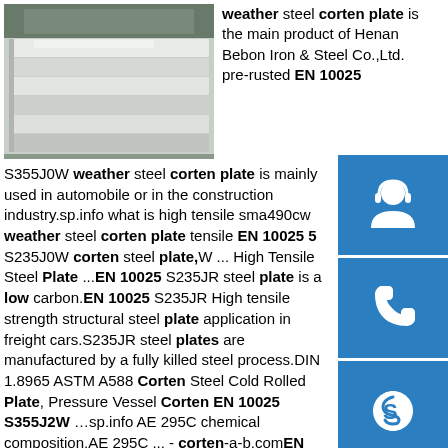[Figure (photo): Stack of steel/corten plates in a warehouse or storage area]
weather steel corten plate is the main product of Henan Bebon Iron & Steel Co.,Ltd. pre-rusted EN 10025 S355J0W weather steel corten plate is mainly used in automobile or in the construction industry.sp.info what is high tensile sma490cw weather steel corten plate tensile EN 10025 5 S235J0W corten steel plate,W... High Tensile Steel Plate ...EN 10025 S235JR steel plate is a low carbon.EN 10025 S235JR High tensile strength structural steel plate application in freight cars.S235JR steel plates are manufactured by a fully killed steel process.DIN 1.8965 ASTM A588 Corten Steel Cold Rolled Plate, Pressure Vessel Corten EN 10025 S355J2W …sp.info AE 295C chemical composition,AE 295C ... - corten-a-b.comEN 10025-5 S355J2W steel plate weath. EN 10025-5 S355J0WP steel plate weat. Corten B steel plate weather resista. Leave a Comment. If you have any need about our steel products. Please